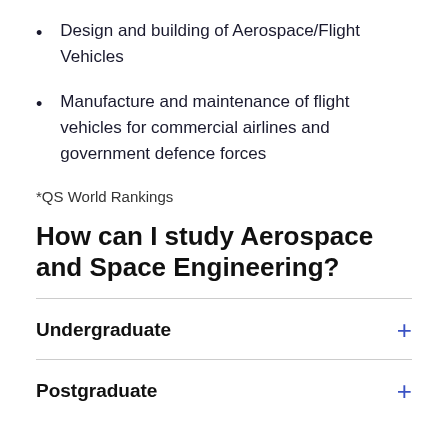Design and building of Aerospace/Flight Vehicles
Manufacture and maintenance of flight vehicles for commercial airlines and government defence forces
*QS World Rankings
How can I study Aerospace and Space Engineering?
Undergraduate
Postgraduate